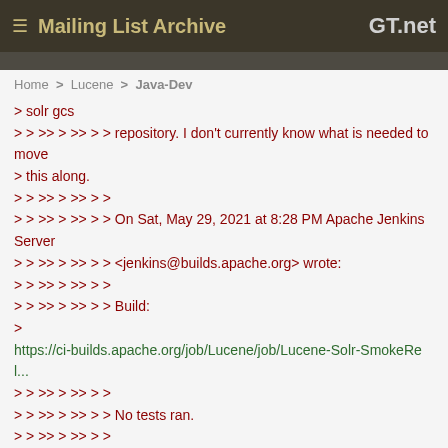≡ Mailing List Archive   GT.net
Home > Lucene > Java-Dev
> solr gcs
> > >> > >> > > repository. I don't currently know what is needed to move
> this along.
> > >> > >> > >
> > >> > >> > > On Sat, May 29, 2021 at 8:28 PM Apache Jenkins Server
> > >> > >> > > <jenkins@builds.apache.org> wrote:
> > >> > >> > >
> > >> > >> > > Build:
>
https://ci-builds.apache.org/job/Lucene/job/Lucene-Solr-SmokeRel...
> > >> > >> > >
> > >> > >> > > No tests ran.
> > >> > >> > >
> > >> > >> > > Build Log:
> > >> > >> > > [...truncated 28456 lines...]
> > >> > >> > > BUILD FAILED